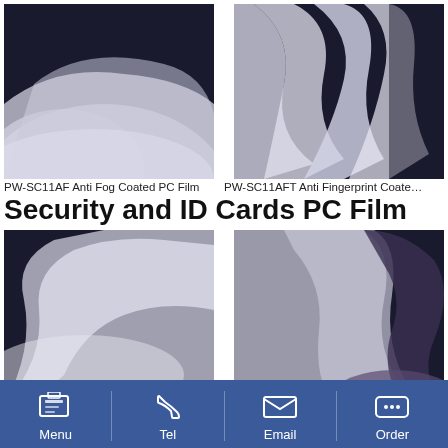[Figure (photo): Photo of white/grey translucent PC film sheets against dark background - top left product]
[Figure (photo): Photo of white/grey translucent PC film sheets with multiple curves against dark background - top right product]
PW-SC11AF Anti Fog Coated PC Film
PW-SC11AFT Anti Fingerprint Coate…
Security and ID Cards PC Film
[Figure (photo): Photo of white/grey translucent PC film sheet curled against dark background - bottom left product]
[Figure (photo): Photo of white/grey translucent PC film sheet curled with dark underside against dark background - bottom right product]
PW-SD32YT Bottom Transparent Ve…
PW-SD32WO Chip layer White PC F…
[Figure (photo): Partial photo of a dark product at bottom left, cut off]
Menu  Tel  Email  Order